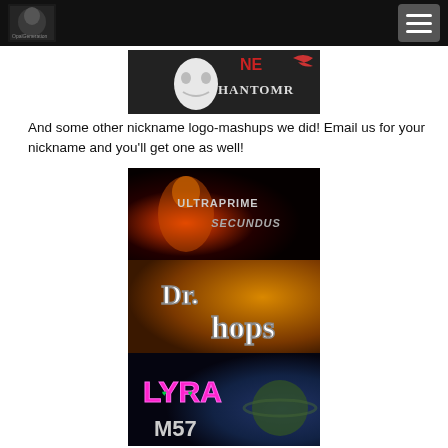OpalGeneration navigation header
[Figure (illustration): Phantom of the Opera style logo mashup showing a white mask on dark background with text PHANTOM RW and red NE letters]
And some other nickname logo-mashups we did! Email us for your nickname and you'll get one as well!
[Figure (illustration): Collage of three nickname logo mashups: ULTRAPRIME SECUNDUS on dark red background with glowing figure, Dr. hops in white text on orange-brown background, and LYRA M57 in pink neon letters on space background]